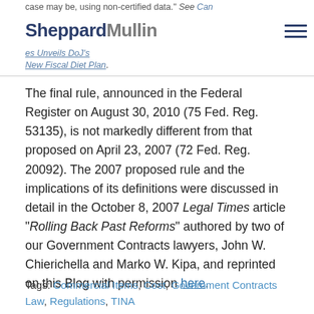case may be, using non-certified data." See Can SheppardMullin ...es Unveils DoJ's New Fiscal Diet Plan.
The final rule, announced in the Federal Register on August 30, 2010 (75 Fed. Reg. 53135), is not markedly different from that proposed on April 23, 2007 (72 Fed. Reg. 20092). The 2007 proposed rule and the implications of its definitions were discussed in detail in the October 8, 2007 Legal Times article "Rolling Back Past Reforms" authored by two of our Government Contracts lawyers, John W. Chierichella and Marko W. Kipa, and reprinted on this Blog with permission here.
Tags: Commercial Items, Cost, Government Contracts Law, Regulations, TINA